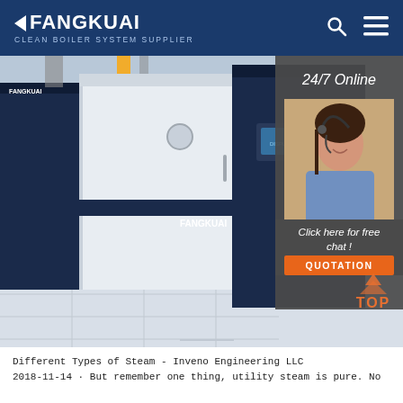FANGKUAI Clean Boiler System Supplier
[Figure (photo): Industrial boiler equipment (FANGKUAI branded) in white and dark blue/navy colors, installed in a facility with white tile flooring. An overlay on the right shows a customer service representative with a headset, with '24/7 Online' text, 'Click here for free chat!' and a QUOTATION button.]
Different Types of Steam - Inveno Engineering LLC
2018-11-14 · But remember one thing, utility steam is pure. No